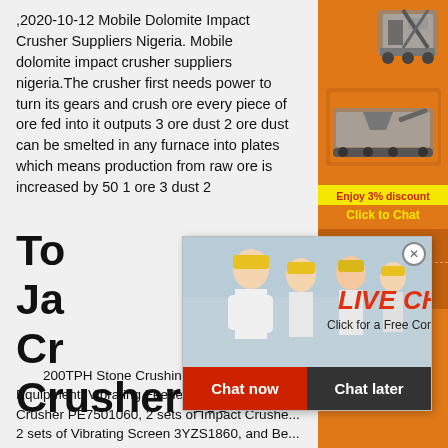,2020-10-12 Mobile Dolomite Impact Crusher Suppliers Nigeria. Mobile dolomite impact crusher suppliers nigeria.The crusher first needs power to turn its gears and crush ore every piece of ore fed into it outputs 3 ore dust 2 ore dust can be smelted in any furnace into plates which means production from raw ore is increased by 50 1 ore 3 dust 2
To... Supplier Mobile Jaw... Crusher... Crusher ...
[Figure (photo): Orange sidebar banner with mining/crushing machinery images, discount offer 'Enjoy 3% discount', 'Click to Chat', Enquiry section, and email limingjlmofen@sina.com]
[Figure (photo): Live chat popup overlay showing workers in hard hats, LIVE CHAT heading in red italic, 'Click for a Free Consultation' subtitle, close button, Chat now (red) and Chat later (dark) buttons]
200TPH Stone Crushing Line. Location: P... Equipment: Vibrating Feeder GZD11004200, ... Crusher PE7501060, 2 sets of Impact Crushe... 2 sets of Vibrating Screen 3YZS1860, and Be... Conveyors. Material: Limestone Capacity: 200t/h Output size: 0-6.5mm, 6.5-13mm, 13-32mm.